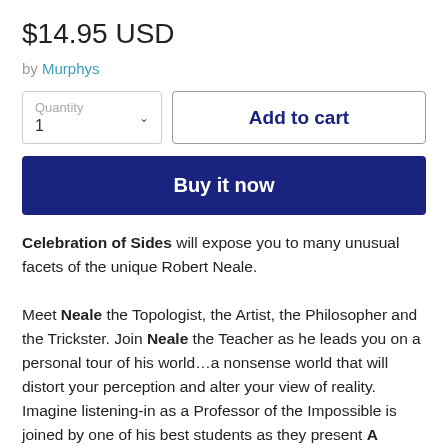$14.95 USD
by Murphys
Quantity 1
Add to cart
Buy it now
Celebration of Sides will expose you to many unusual facets of the unique Robert Neale.

Meet Neale the Topologist, the Artist, the Philosopher and the Trickster. Join Neale the Teacher as he leads you on a personal tour of his world...a nonsense world that will distort your perception and alter your view of reality. Imagine listening-in as a Professor of the Impossible is joined by one of his best students as they present A Graduate Course on the